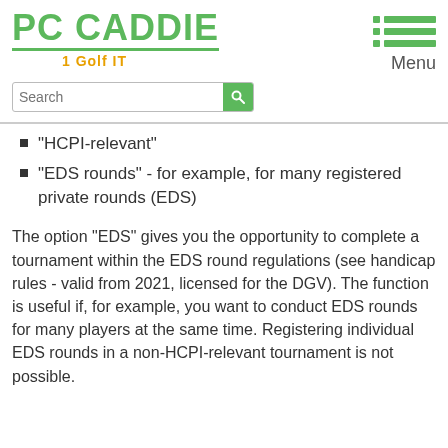[Figure (logo): PC CADDIE Golf IT logo with green text and tagline]
[Figure (illustration): Green hamburger menu icon with three rows of dot and bars]
Menu
Search
“HCPI-relevant”
“EDS rounds” - for example, for many registered private rounds (EDS)
The option “EDS” gives you the opportunity to complete a tournament within the EDS round regulations (see handicap rules - valid from 2021, licensed for the DGV). The function is useful if, for example, you want to conduct EDS rounds for many players at the same time. Registering individual EDS rounds in a non-HCPI-relevant tournament is not possible.